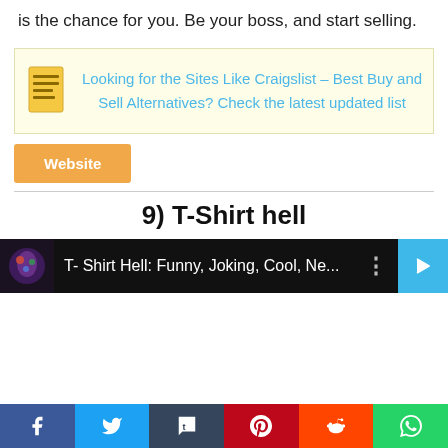is the chance for you. Be your boss, and start selling.
Looking for the Sites Like Craigslist – Best Buy and Sell Alternatives? Check the latest updated list
Website
9) T-Shirt hell
[Figure (screenshot): Browser bar showing T-Shirt Hell website: 'T- Shirt Hell: Funny, Joking, Cool, Ne...' with favicon and navigation elements]
[Figure (infographic): Social share bar with Facebook, Twitter, Tumblr, Pinterest, Reddit, and WhatsApp buttons]